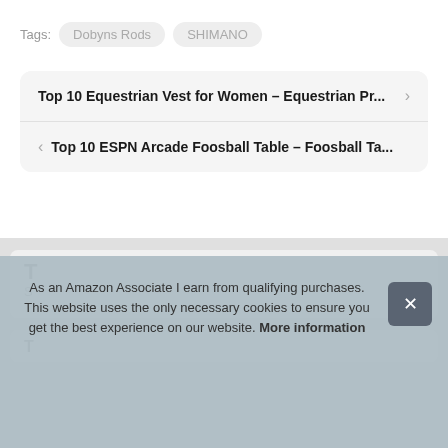Tags: Dobyns Rods  SHIMANO
Top 10 Equestrian Vest for Women – Equestrian Pr...
Top 10 ESPN Arcade Foosball Table – Foosball Ta...
As an Amazon Associate I earn from qualifying purchases. This website uses the only necessary cookies to ensure you get the best experience on our website. More information